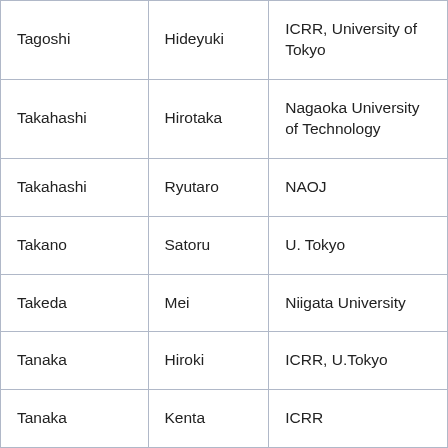| Tagoshi | Hideyuki | ICRR, University of Tokyo |
| Takahashi | Hirotaka | Nagaoka University of Technology |
| Takahashi | Ryutaro | NAOJ |
| Takano | Satoru | U. Tokyo |
| Takeda | Mei | Niigata University |
| Tanaka | Hiroki | ICRR, U.Tokyo |
| Tanaka | Kenta | ICRR |
| Tanaka | Taiki | ICRR |